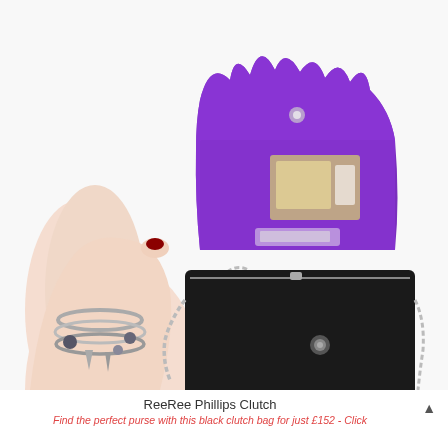[Figure (photo): A hand wearing silver charm bracelets holds open a black leather clutch purse with a vivid purple suede interior lining. The clutch has a decorative spiked/crown-shaped flap, a snap button closure, silver chain strap, and a studded wristlet strap. The interior shows a mirror pocket and card slot. Background is white.]
ReeRee Phillips Clutch
Find the perfect purse with this black clutch bag for just £152 - Click